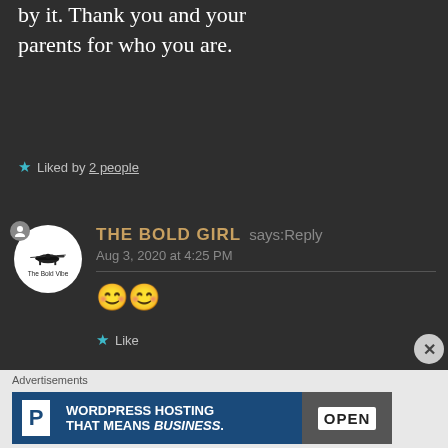by it. Thank you and your parents for who you are.
★ Liked by 2 people
THE BOLD GIRL says: Reply
Aug 3, 2020 at 4:25 PM
😊😊
★ Like
Advertisements
[Figure (screenshot): WordPress hosting advertisement banner reading WORDPRESS HOSTING THAT MEANS BUSINESS with a P logo and an OPEN sign image]